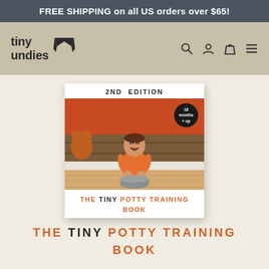FREE SHIPPING on all US orders over $65!
[Figure (logo): Tiny Undies logo with stylized underwear icon above the text 'tiny undies' and navigation icons (search, account, cart, menu)]
[Figure (photo): Book cover of 'The Tiny Potty Training Book, 2nd Edition' showing a laughing toddler sitting on a potty on a wood floor, with a badge reading '18 months + up']
THE TINY POTTY TRAINING BOOK